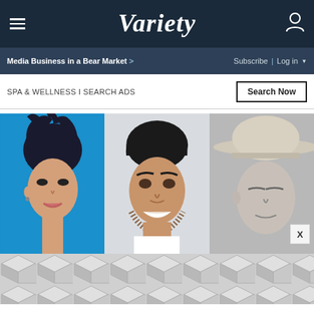VARIETY — hamburger menu, logo, user icon
Media Business in a Bear Market > | Subscribe | Log in
SPA & WELLNESS I SEARCH ADS
[Figure (photo): Three celebrity headshots side by side: left panel shows an Asian male singer with dark spiked hair against a blue background; center panel shows a smiling man with dark curly hair and stubble in a white shirt against a light background; right panel shows a person wearing a wide-brim light gray hat in black and white.]
[Figure (photo): Bottom advertisement banner with geometric hexagon/cube pattern in gray tones.]